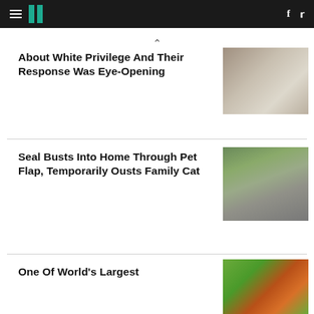HuffPost navigation bar with hamburger menu, logo, Facebook and Twitter icons
^
About White Privilege And Their Response Was Eye-Opening
[Figure (photo): Person's hand filling out a form/questionnaire on paper]
Seal Busts Into Home Through Pet Flap, Temporarily Ousts Family Cat
[Figure (photo): Close-up of a seal looking upward surrounded by green foliage]
One Of World's Largest
[Figure (photo): Close-up of a large butterfly or moth with orange and green colors]